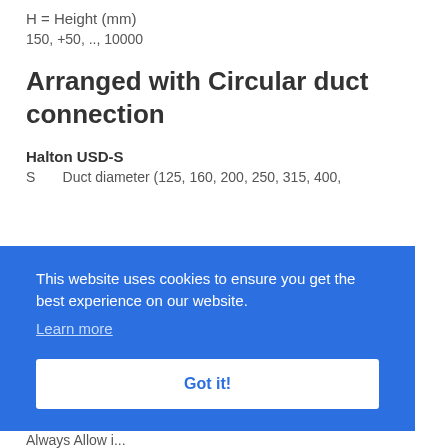H = Height (mm)
150, +50, .., 10000
Arranged with Circular duct connection
Halton USD-S
S      Duct diameter (125, 160, 200, 250, 315, 400,
This website uses cookies to ensure you get the best experience on our website.
Learn more
Got it!
Always Allow i...